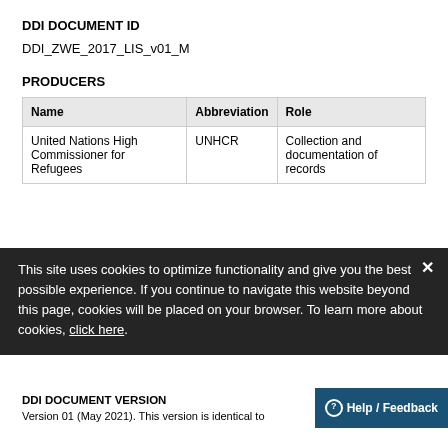DDI DOCUMENT ID
DDI_ZWE_2017_LIS_v01_M
PRODUCERS
| Name | Abbreviation | Role |
| --- | --- | --- |
| United Nations High Commissioner for Refugees | UNHCR | Collection and documentation of records |
This site uses cookies to optimize functionality and give you the best possible experience. If you continue to navigate this website beyond this page, cookies will be placed on your browser. To learn more about cookies, click here.
DDI DOCUMENT VERSION
Version 01 (May 2021). This version is identical to